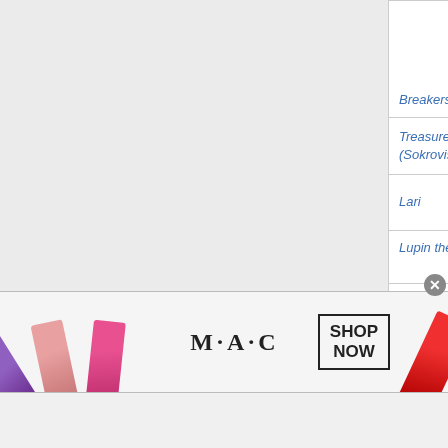| Film | Actor/Actress | Character | Notes |
| --- | --- | --- | --- |
| Breakers |  |  | and sound suppressed |
| Treasures O.K. (Sokrovischa O.K.) | Several | Several | with 25 round magazine |
| Lari | Aaron Aziz | Khalif | with 30 round magazine |
| Lupin the 3rd | Thanayong Wongtrakul | Royal |  |
| Hardcore Henry |  | Henry |  |
| J Revolusi |  | P.F.O mercenary | with 30 round magazine |
[Figure (photo): MAC cosmetics advertisement banner showing lipsticks in purple, pink, and red colors alongside the MAC logo and a 'SHOP NOW' button]